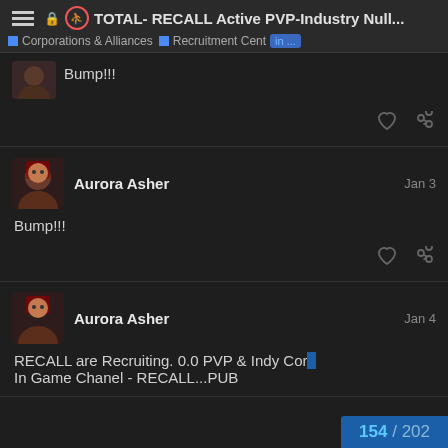🔒 (runner icon) TOTAL- RECALL Active PVP-Industry Null... | Corporations & Alliances | Recruitment Cent... in...
Bump!!!
Aurora Asher  Jan 3
Bump!!!
Aurora Asher  Jan 4
RECALL are Recruiting. 0.0 PVP & Indy Cor...
In Game Chanel - RECALL...PUB
154 / 202